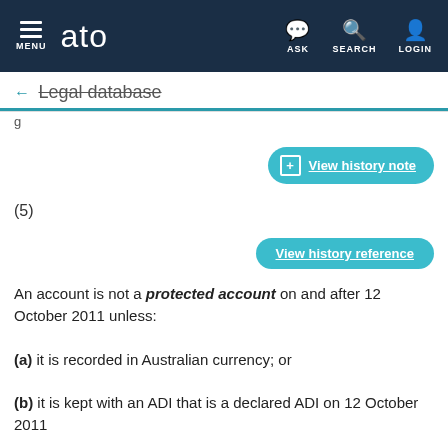ato — MENU, ASK, SEARCH, LOGIN
← Legal database
g
[Figure (other): View history note button (teal rounded button with + icon)]
(5)
[Figure (other): View history reference button (teal rounded button)]
An account is not a protected account on and after 12 October 2011 unless:
(a) it is recorded in Australian currency; or
(b) it is kept with an ADI that is a declared ADI on 12 October 2011